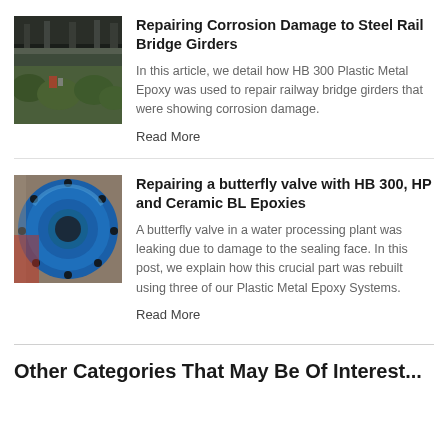[Figure (photo): Photo of underneath a steel rail bridge girder showing corrosion damage, with green vegetation visible below]
Repairing Corrosion Damage to Steel Rail Bridge Girders
In this article, we detail how HB 300 Plastic Metal Epoxy was used to repair railway bridge girders that were showing corrosion damage.
Read More
[Figure (photo): Photo of a blue circular butterfly valve flange with bolts, in an industrial setting]
Repairing a butterfly valve with HB 300, HP and Ceramic BL Epoxies
A butterfly valve in a water processing plant was leaking due to damage to the sealing face. In this post, we explain how this crucial part was rebuilt using three of our Plastic Metal Epoxy Systems.
Read More
Other Categories That May Be Of Interest...